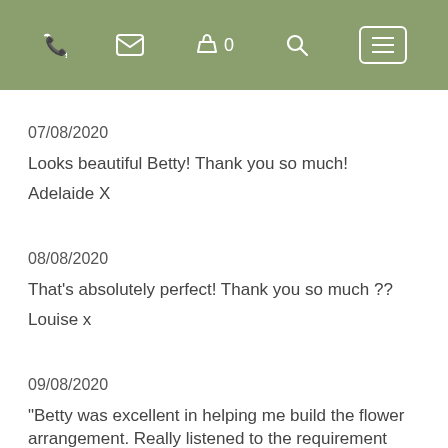[Figure (screenshot): Navigation header bar in sage green with phone icon, email icon, basket icon with count 0, search icon, and hamburger menu button]
07/08/2020
Looks beautiful Betty! Thank you so much!
Adelaide X
08/08/2020
That's absolutely perfect! Thank you so much ??
Louise x
09/08/2020
"Betty was excellent in helping me build the flower arrangement. Really listened to the requirement and went